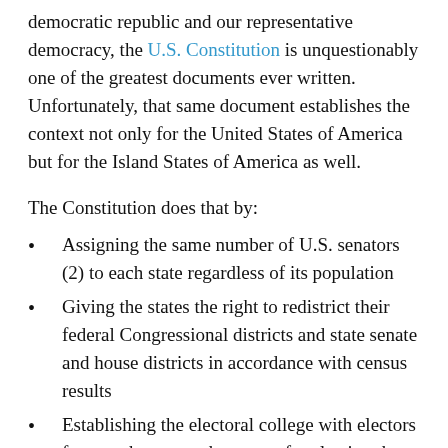democratic republic and our representative democracy, the U.S. Constitution is unquestionably one of the greatest documents ever written. Unfortunately, that same document establishes the context not only for the United States of America but for the Island States of America as well.
The Constitution does that by:
Assigning the same number of U.S. senators (2) to each state regardless of its population
Giving the states the right to redistrict their federal Congressional districts and state senate and house districts in accordance with census results
Establishing the electoral college with electors from each state as the means for electing the President and Vice President of the United